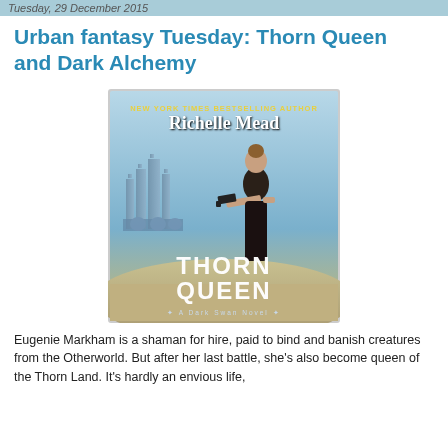Tuesday, 29 December 2015
Urban fantasy Tuesday: Thorn Queen and Dark Alchemy
[Figure (illustration): Book cover of 'Thorn Queen' by Richelle Mead, A Dark Swan Novel. Features a woman holding a gun standing in front of a castle in a blue-toned sandy landscape. Text reads: NEW YORK TIMES BESTSELLING AUTHOR, Richelle Mead, THORN QUEEN, A Dark Swan Novel.]
Eugenie Markham is a shaman for hire, paid to bind and banish creatures from the Otherworld. But after her last battle, she's also become queen of the Thorn Land. It's hardly an envious life,